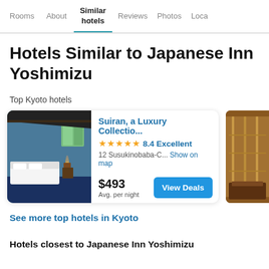Rooms  About  Similar hotels  Reviews  Photos  Loca...
Hotels Similar to Japanese Inn Yoshimizu
Top Kyoto hotels
[Figure (photo): Photo of a hotel room at Suiran, showing a large bed with white bedding, blue carpet, and a window with greenery outside]
Suiran, a Luxury Collectio...
★★★★★ 8.4 Excellent
12 Susukinobaba-C... Show on map
$493 Avg. per night  View Deals
[Figure (photo): Partial photo of a second hotel showing an interior with warm lighting and decorative screens]
See more top hotels in Kyoto
Hotels closest to Japanese Inn Yoshimizu